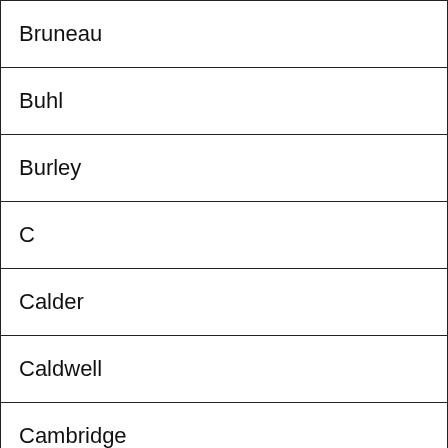| Bruneau |
| Buhl |
| Burley |
| C |
| Calder |
| Caldwell |
| Cambridge |
| Carey |
| Careywood |